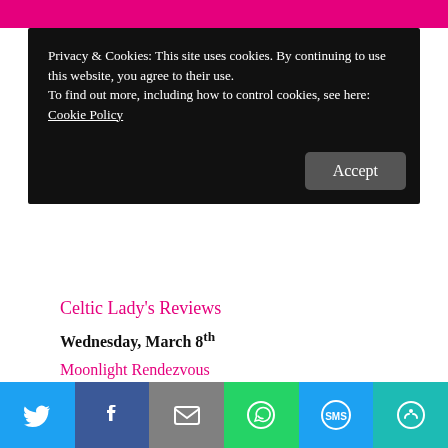Privacy & Cookies: This site uses cookies. By continuing to use this website, you agree to their use.
To find out more, including how to control cookies, see here:
Cookie Policy
Accept
Celtic Lady's Reviews
Wednesday, March 8th
Moonlight Rendezvous
One More Chapter
All Things Bookaholic
Fresh Fiction